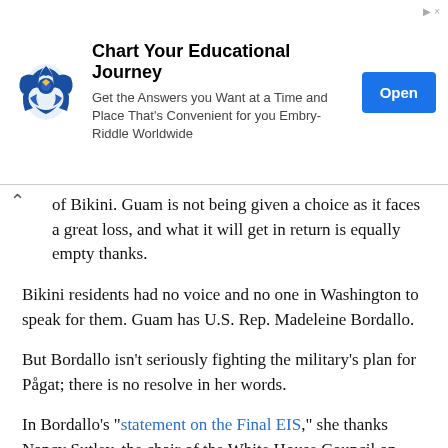[Figure (other): Advertisement banner: Chart Your Educational Journey — Embry-Riddle Worldwide with Open button]
of Bikini. Guam is not being given a choice as it faces a great loss, and what it will get in return is equally empty thanks.
Bikini residents had no voice and no one in Washington to speak for them. Guam has U.S. Rep. Madeleine Bordallo.
But Bordallo isn't seriously fighting the military's plan for Pågat; there is no resolve in her words.
In Bordallo's "statement on the Final EIS," she thanks Nancy Sutley, the chair of the White House Council on Environmental Quality, Deputy Under Secretary of Defense Dorothy Robyn, and Assistant Secretary of the Navy Jackalyne Pfannenstiel for visiting Guam. "The fact that these high-ranking officials are visiting Guam is much appreciated and shows the commitment of the White House in hearing our island's concerns." Why Bordallo would show